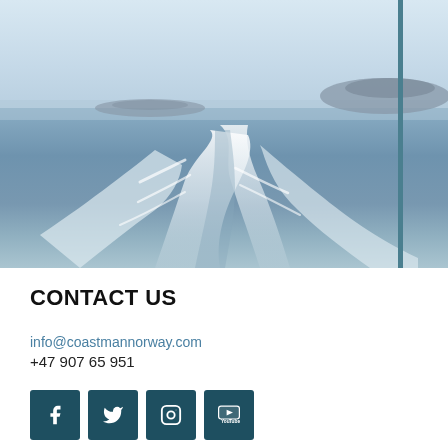[Figure (photo): Aerial/boat-wake view of Norwegian coastal waters with ocean wake, calm blue sea surface, small islands in the distance, and a teal vertical bar on the right side of the image.]
CONTACT US
info@coastmannorway.com
+47 907 65 951
[Figure (illustration): Four square social media icon buttons in dark teal: Facebook (f), Twitter (bird), Instagram (camera), YouTube (play button with 'Tube' label).]